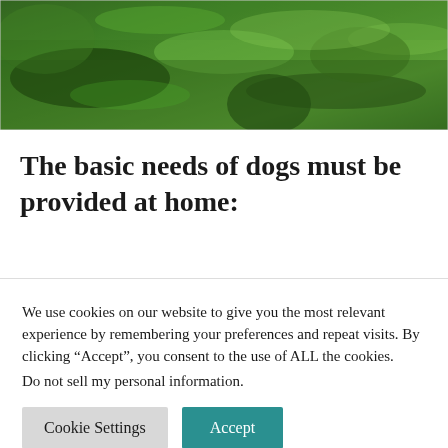[Figure (photo): A photograph of green grass and ground cover, close-up view showing lush green grass with some brown earth visible underneath.]
The basic needs of dogs must be provided at home:
We use cookies on our website to give you the most relevant experience by remembering your preferences and repeat visits. By clicking “Accept”, you consent to the use of ALL the cookies.
Do not sell my personal information.
Cookie Settings  Accept